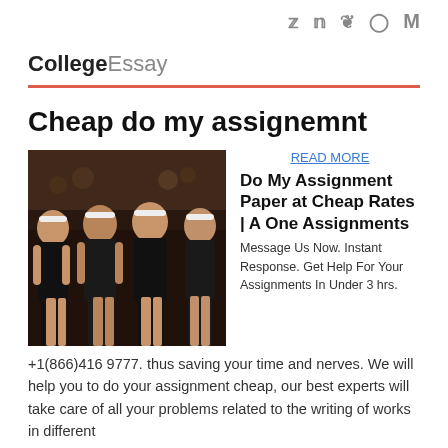Social icons: Twitter, Facebook, Snapchat, Instagram, Medium
CollegeEssay
Cheap do my assignemnt
[Figure (photo): Four young women wearing black athletic outfits and white headbands, posing together at an outdoor event.]
READ MORE
Do My Assignment Paper at Cheap Rates | A One Assignments
Message Us Now. Instant Response. Get Help For Your Assignments In Under 3 hrs. +1(866)416 9777. thus saving your time and nerves. We will help you to do your assignment cheap, our best experts will take care of all your problems related to the writing of works in different